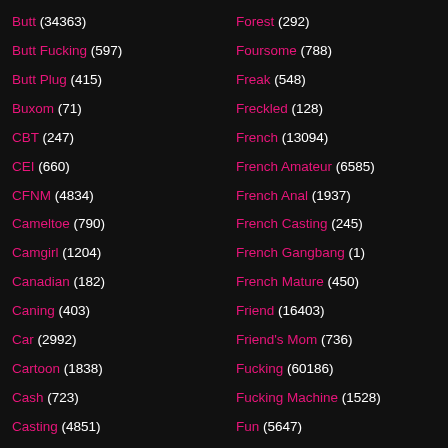Butt (34363)
Butt Fucking (597)
Butt Plug (415)
Buxom (71)
CBT (247)
CEI (660)
CFNM (4834)
Cameltoe (790)
Camgirl (1204)
Canadian (182)
Caning (403)
Car (2992)
Cartoon (1838)
Cash (723)
Casting (4851)
Catfight (426)
Forest (292)
Foursome (788)
Freak (548)
Freckled (128)
French (13094)
French Amateur (6585)
French Anal (1937)
French Casting (245)
French Gangbang (1)
French Mature (450)
Friend (16403)
Friend's Mom (736)
Fucking (60186)
Fucking Machine (1528)
Fun (5647)
Funny (3119)